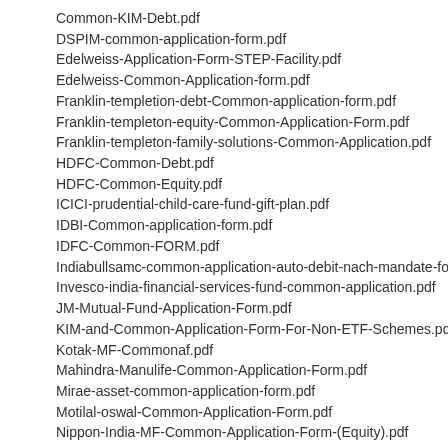Common-KIM-Debt.pdf
DSPIM-common-application-form.pdf
Edelweiss-Application-Form-STEP-Facility.pdf
Edelweiss-Common-Application-form.pdf
Franklin-templetion-debt-Common-application-form.pdf
Franklin-templeton-equity-Common-Application-Form.pdf
Franklin-templeton-family-solutions-Common-Application.pdf
HDFC-Common-Debt.pdf
HDFC-Common-Equity.pdf
ICICI-prudential-child-care-fund-gift-plan.pdf
IDBI-Common-application-form.pdf
IDFC-Common-FORM.pdf
Indiabullsamc-common-application-auto-debit-nach-mandate-form.pdf
Invesco-india-financial-services-fund-common-application.pdf
JM-Mutual-Fund-Application-Form.pdf
KIM-and-Common-Application-Form-For-Non-ETF-Schemes.pdf
Kotak-MF-Commonaf.pdf
Mahindra-Manulife-Common-Application-Form.pdf
Mirae-asset-common-application-form.pdf
Motilal-oswal-Common-Application-Form.pdf
Nippon-India-MF-Common-Application-Form-(Equity).pdf